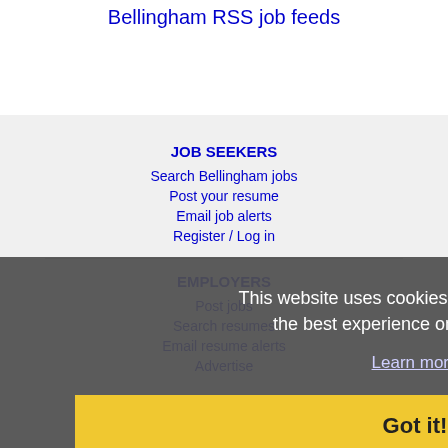Bellingham RSS job feeds
JOB SEEKERS
Search Bellingham jobs
Post your resume
Email job alerts
Register / Log in
EMPLOYERS
Post jobs
Search resumes
Email resume alerts
Advertise
This website uses cookies to ensure you get the best experience on our website.
Learn more
Got it!